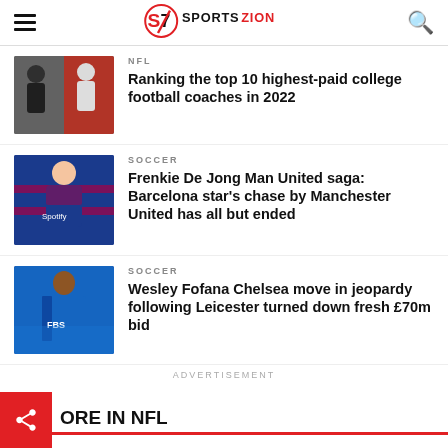SportsZion
[Figure (photo): Two college football coaches side by side]
NFL
Ranking the top 10 highest-paid college football coaches in 2022
[Figure (photo): Frenkie De Jong in Barcelona jersey]
SOCCER
Frenkie De Jong Man United saga: Barcelona star's chase by Manchester United has all but ended
[Figure (photo): Wesley Fofana in Leicester City jersey]
SOCCER
Wesley Fofana Chelsea move in jeopardy following Leicester turned down fresh £70m bid
ADVERTISEMENT
ORE IN NFL